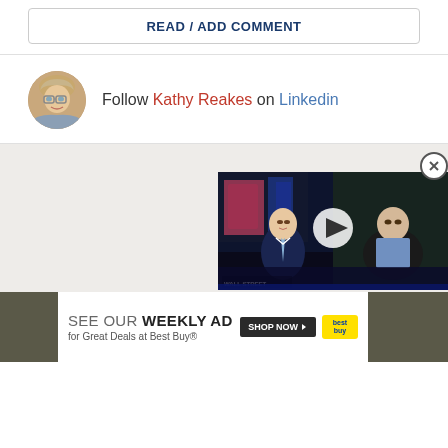READ / ADD COMMENT
Follow Kathy Reakes on Linkedin
[Figure (photo): Circular avatar photo of a woman with glasses and short blonde hair]
[Figure (screenshot): Video thumbnail showing two men on a news broadcast, with WALL STREET text, and a play button overlay]
[Figure (infographic): Best Buy weekly ad advertisement banner: SEE OUR WEEKLY AD for Great Deals at Best Buy® with SHOP NOW button and Best Buy logo]